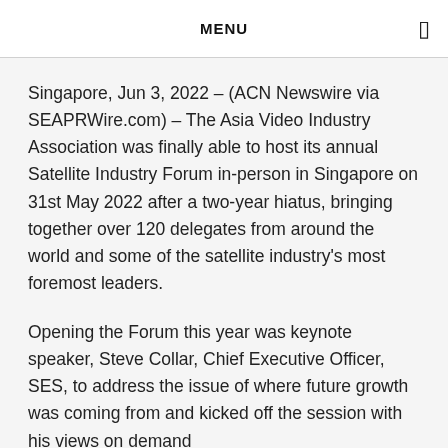MENU
Singapore, Jun 3, 2022 – (ACN Newswire via SEAPRWire.com) – The Asia Video Industry Association was finally able to host its annual Satellite Industry Forum in-person in Singapore on 31st May 2022 after a two-year hiatus, bringing together over 120 delegates from around the world and some of the satellite industry's most foremost leaders.
Opening the Forum this year was keynote speaker, Steve Collar, Chief Executive Officer, SES, to address the issue of where future growth was coming from and kicked off the session with his views on demand